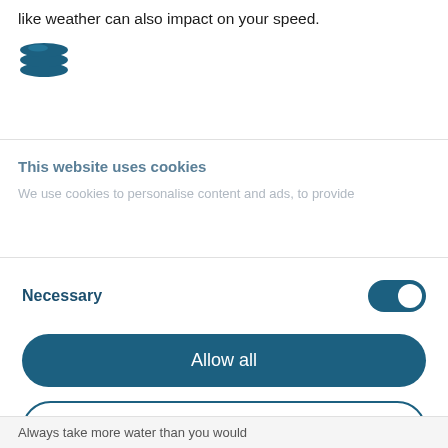like weather can also impact on your speed.
[Figure (logo): Cookiebot/Usercentrics logo - teal oval stacked layers icon]
This website uses cookies
We use cookies to personalise content and ads, to provide
Necessary
Allow all
Allow selection
Deny
Powered by Cookiebot by Usercentrics
Always take more water than you would